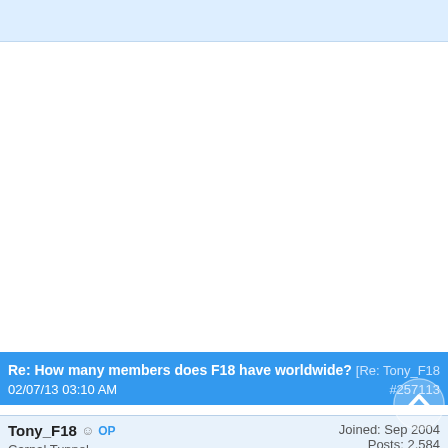Re: How many members does F18 have worldwide? [Re: Tony_F18]
02/07/13 03:10 AM  #257113
Tony_F18 ☺ OP
Carpal Tunnel
Joined: Sep 2004
Posts: 2,584
+31 NL